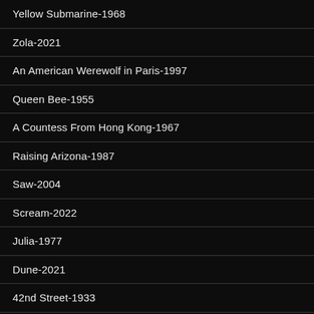Yellow Submarine-1968
Zola-2021
An American Werewolf in Paris-1997
Queen Bee-1955
A Countess From Hong Kong-1967
Raising Arizona-1987
Saw-2004
Scream-2022
Julia-1977
Dune-2021
42nd Street-1933
Viva Las Vegas-1964